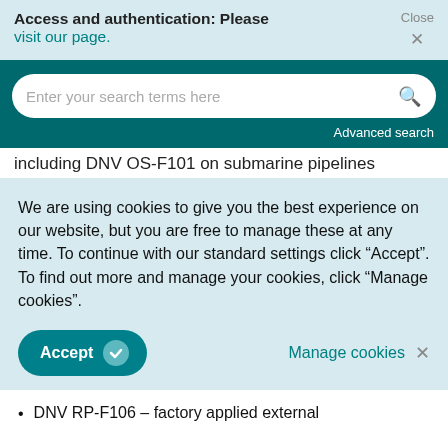Access and authentication: Please visit our page.
[Figure (screenshot): Search bar with placeholder text 'Enter your search terms here' and a magnifying glass icon, on a dark teal background, with 'Advanced search' link below]
including DNV OS-F101 on submarine pipelines
We are using cookies to give you the best experience on our website, but you are free to manage these at any time. To continue with our standard settings click "Accept". To find out more and manage your cookies, click "Manage cookies".
DNV RP-F106 – factory applied external